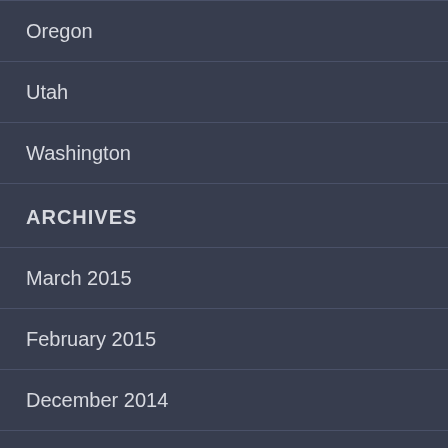Oregon
Utah
Washington
ARCHIVES
March 2015
February 2015
December 2014
November 2014
October 2014
September 2014
August 2014